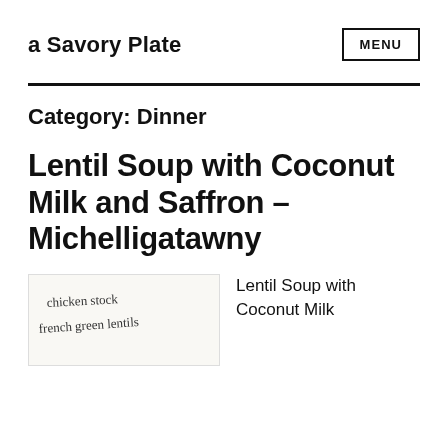a Savory Plate
Category: Dinner
Lentil Soup with Coconut Milk and Saffron – Michelligatawny
[Figure (photo): Handwritten recipe notes showing 'chicken stock' and 'french green lentils' in cursive script on light paper]
Lentil Soup with Coconut Milk